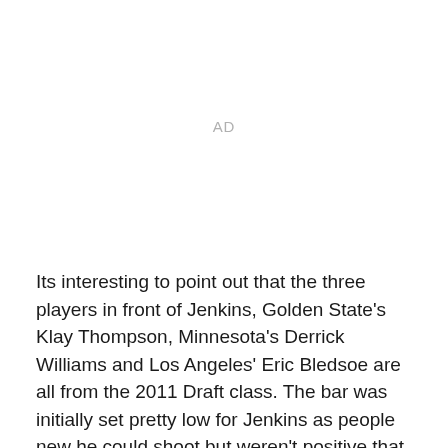AD
Its interesting to point out that the three players in front of Jenkins, Golden State's Klay Thompson, Minnesota's Derrick Williams and Los Angeles' Eric Bledsoe are all from the 2011 Draft class. The bar was initially set pretty low for Jenkins as people new he could shoot but weren't positive that he could do the other things necessary to succeed in the NBA.